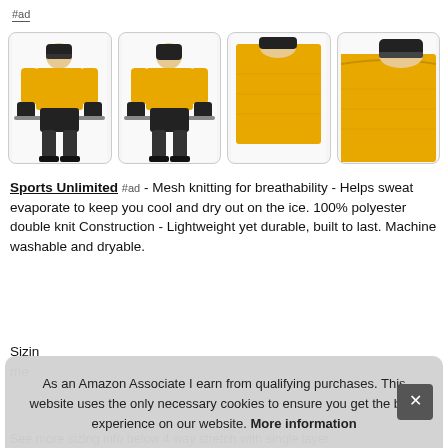#ad
[Figure (photo): Four product photos of a person wearing a yellow hockey jersey with helmet and gloves holding a hockey stick. Images show front view, back view, collar close-up, and shoulder close-up.]
Sports Unlimited #ad - Mesh knitting for breathability - Helps sweat evaporate to keep you cool and dry out on the ice. 100% polyester double knit Construction - Lightweight yet durable, built to last. Machine washable and dryable.
Sizing me
As an Amazon Associate I earn from qualifying purchases. This website uses the only necessary cookies to ensure you get the best experience on our website. More information
See more sizing info below 4 way stretch with single layer